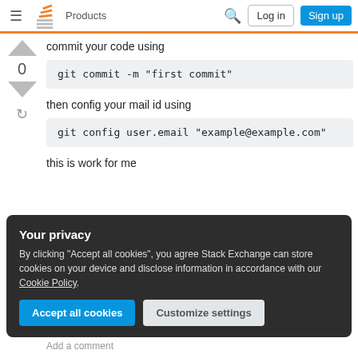≡ [Stack Overflow logo] Products 🔍 Log in Sign up
commit your code using
then config your mail id using
this is work for me
Your privacy
By clicking "Accept all cookies", you agree Stack Exchange can store cookies on your device and disclose information in accordance with our Cookie Policy.
Accept all cookies   Customize settings
Add a comment